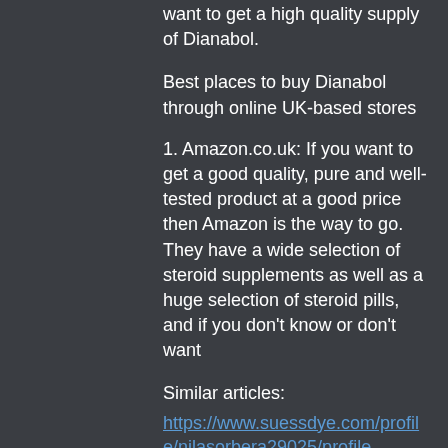want to get a high quality supply of Dianabol.
Best places to buy Dianabol through online UK-based stores
1. Amazon.co.uk: If you want to get a good quality, pure and well-tested product at a good price then Amazon is the way to go. They have a wide selection of steroid supplements as well as a huge selection of steroid pills, and if you don't know or don't want
Similar articles:
https://www.suessdye.com/profile/nilasorbera29025/profile
https://www.yogahjerte.org/profile/nydiakarty e76935/profile
https://www.coabehackathon-careerpathway.com/profile/cletusangelillo191189/profile
https://www.australiacanineclassess...